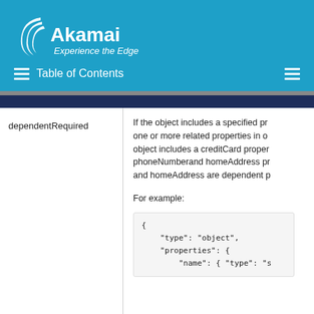Akamai — Experience the Edge — Table of Contents
|  |  |
| --- | --- |
| dependentRequired | If the object includes a specified property, one or more related properties in object includes a creditCard property, phoneNumber and homeAddress properties, and homeAddress are dependent properties.

For example:

{
    "type": "object",
    "properties": {
        "name": { "type": "s
        "creditCard": { "fo |